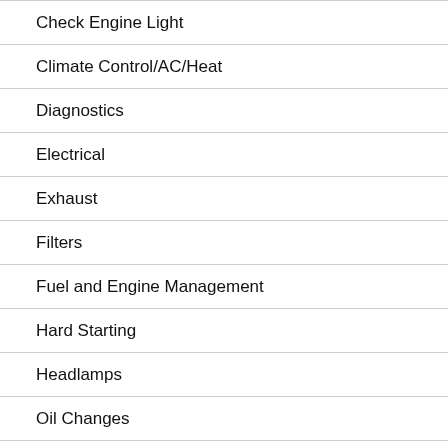Check Engine Light
Climate Control/AC/Heat
Diagnostics
Electrical
Exhaust
Filters
Fuel and Engine Management
Hard Starting
Headlamps
Oil Changes
Preventive Care…